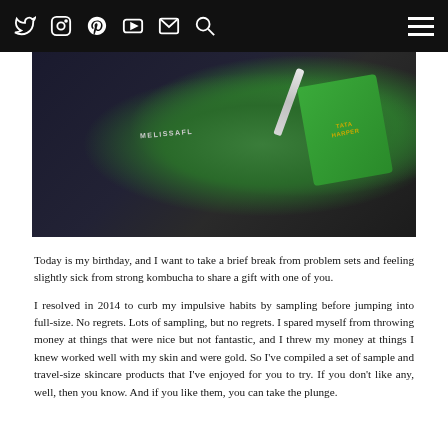Navigation bar with social icons: Twitter, Instagram, Pinterest, YouTube, Email, Search, and hamburger menu
[Figure (photo): A dark navy/black makeup or toiletry bag labeled MELISSAFL, with a white tube and green Tata Harper skincare sample packets spilling out of it, on a light background.]
Today is my birthday, and I want to take a brief break from problem sets and feeling slightly sick from strong kombucha to share a gift with one of you.
I resolved in 2014 to curb my impulsive habits by sampling before jumping into full-size. No regrets. Lots of sampling, but no regrets. I spared myself from throwing money at things that were nice but not fantastic, and I threw my money at things I knew worked well with my skin and were gold. So I've compiled a set of sample and travel-size skincare products that I've enjoyed for you to try. If you don't like any, well, then you know. And if you like them, you can take the plunge.